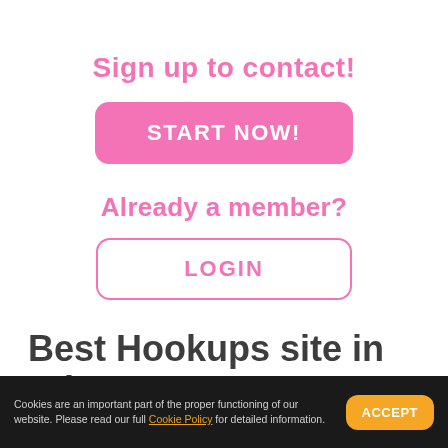Sign up to contact!
[Figure (other): Pink rounded button with text START NOW!]
Already a member?
[Figure (other): White rounded button with pink border and text LOGIN]
Best Hookups site in Edmonton
Cookies are an important part of the proper functioning of our website. Please read our full Cookie Policy for detailed information.
[Figure (other): Orange rounded ACCEPT button in cookie bar]